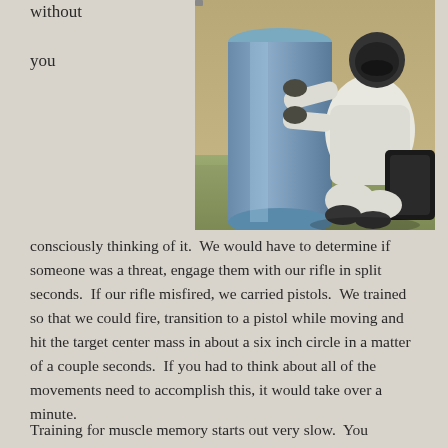without
you
[Figure (photo): A person wearing a white jacket and helmet crouching behind a large blue cylindrical barrel outdoors on a field, appearing to be in a tactical training scenario.]
consciously thinking of it.  We would have to determine if someone was a threat, engage them with our rifle in split seconds.  If our rifle misfired, we carried pistols.  We trained so that we could fire, transition to a pistol while moving and hit the target center mass in about a six inch circle in a matter of a couple seconds.  If you had to think about all of the movements need to accomplish this, it would take over a minute.
Training for muscle memory starts out very slow.  You